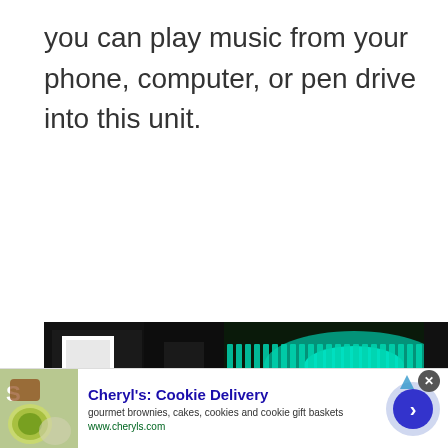you can play music from your phone, computer, or pen drive into this unit.
[Figure (photo): A partial photo of what appears to be a music/audio device with illuminated teal/green LED lights along a horizontal strip, with a dark enclosure visible]
[Figure (other): Advertisement banner for Cheryl's Cookie Delivery featuring a food image with lime/cookies, ad title 'Cheryl's: Cookie Delivery', description 'gourmet brownies, cakes, cookies and cookie gift baskets', URL 'www.cheryls.com', with a blue circular arrow button and close X button]